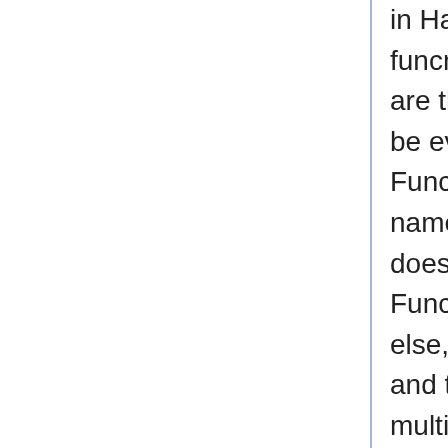in Haskell like so: funcname a b c – expr, where funcname is the name of the function, a, b, and, c are the parameters and expr is the expression to be evaluated (most often using the parameters). Functions are called by simply putting the function name first and then the parameter(s). Haskell doesn't use parenthesis for function application. Functions simply bind more tightly than anything else, so "f 5 * 2", for instance, would apply f to 5 and then multiply by 2, if we wanted the multiplication to occur before the function application then we would use parenthesis like so "f (5*2)".
Let's get back to FilterSort. First we see that we have two definitions of the functions. This is called pattern matching and we can briefly say that it will test the argument passed to the function top-to-